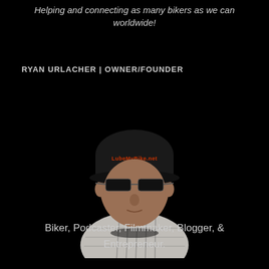Helping and connecting as many bikers as we can worldwide!
RYAN URLACHER | OWNER/FOUNDER
[Figure (photo): A man wearing a black cap with orange text and dark sunglasses, dressed in a black and white plaid flannel shirt, photographed against a black background with a fisheye lens effect.]
Biker, Podcaster, Filmmaker, Blogger, & Entrepreneur.